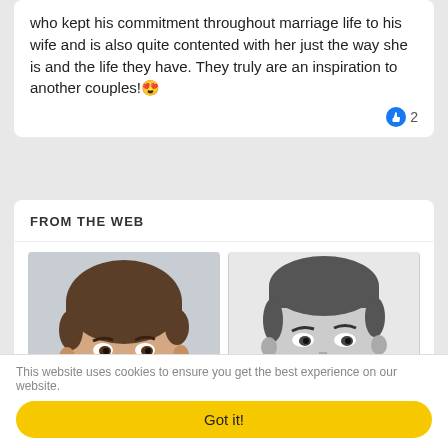who kept his commitment throughout marriage life to his wife and is also quite contented with her just the way she is and the life they have. They truly are an inspiration to another couples! 😍
[Figure (other): Like button icon with count 2]
FROM THE WEB
[Figure (photo): Color photo of a young teenage boy with short brown hair looking upward]
[Figure (photo): Black and white photo of a smiling middle-aged man]
This website uses cookies to ensure you get the best experience on our website.
Got it!